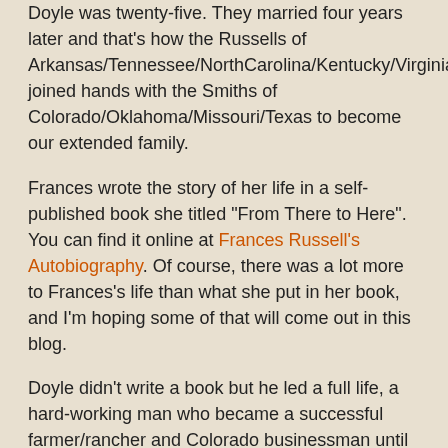Doyle was twenty-five. They married four years later and that's how the Russells of Arkansas/Tennessee/NorthCarolina/Kentucky/Virginia joined hands with the Smiths of Colorado/Oklahoma/Missouri/Texas to become our extended family.
Frances wrote the story of her life in a self-published book she titled "From There to Here". You can find it online at Frances Russell's Autobiography. Of course, there was a lot more to Frances's life than what she put in her book, and I'm hoping some of that will come out in this blog.
Doyle didn't write a book but he led a full life, a hard-working man who became a successful farmer/rancher and Colorado businessman until his death in 2000, one month shy of his 93rd birthday. What a story he had to tell, and tell it he did to his kids and grandkids and anybody who stopped in to buy car parts or grain or sell him a horse.
Frances and Doyle had four kids - two boys and two girls, each as different from one another as four siblings can be.